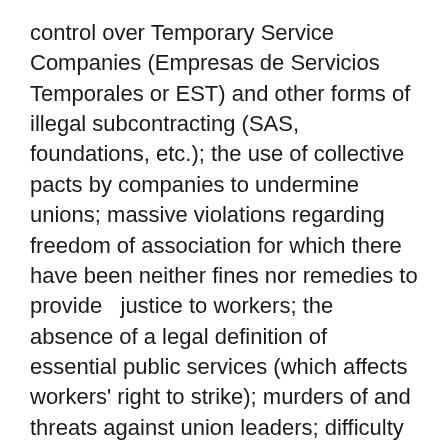control over Temporary Service Companies (Empresas de Servicios Temporales or EST) and other forms of illegal subcontracting (SAS, foundations, etc.); the use of collective pacts by companies to undermine unions; massive violations regarding freedom of association for which there have been neither fines nor remedies to provide   justice to workers; the absence of a legal definition of essential public services (which affects workers' right to strike); murders of and threats against union leaders; difficulty in accessing protection programs; and impunity for the thousands of crimes committed against   union members.
Of the 37 measures that the Colombian government committed to implement, seven have not yet been adopted at all,[1] and of 30